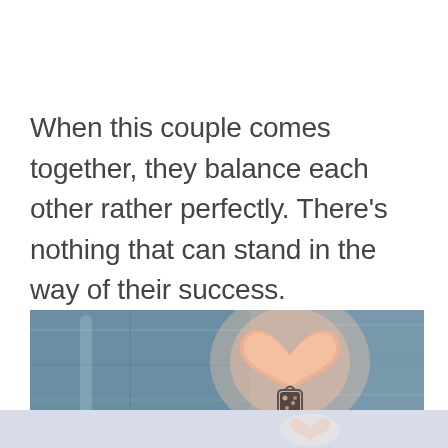When this couple comes together, they balance each other rather perfectly. There’s nothing that can stand in the way of their success.
[Figure (photo): A heart-shaped glowing object or lantern mounted on a blue wooden wall, casting a warm pink/orange light in the shape of a heart. A small decorative lantern or cage sits below the heart shape. The bottom portion shows a reflection or continuation of the scene with soft light.]